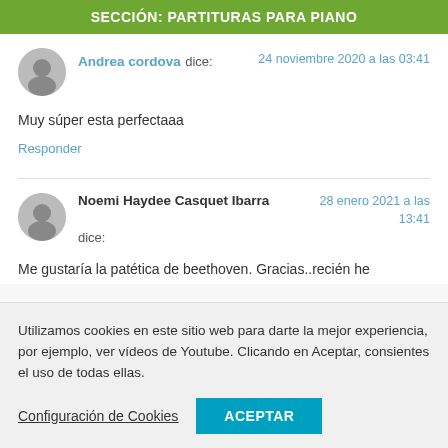SECCIÓN: PARTITURAS PARA PIANO
Andrea cordova dice:
24 noviembre 2020 a las 03:41
Muy súper esta perfectaaa
Responder
Noemi Haydee Casquet Ibarra dice:
28 enero 2021 a las 13:41
Me gustaría la patética de beethoven. Gracias..recién he
Utilizamos cookies en este sitio web para darte la mejor experiencia, por ejemplo, ver vídeos de Youtube. Clicando en Aceptar, consientes el uso de todas ellas.
Configuración de Cookies
ACEPTAR